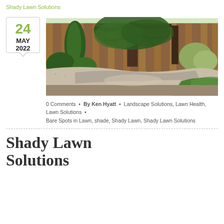Shady Lawn Solutions
24
MAY
2022
[Figure (photo): Backyard garden with wooden fence, trees, shrubs, gravel path, and patch of green grass]
0 Comments · By Ken Hyatt · Landscape Solutions, Lawn Health, Lawn Solutions · Bare Spots in Lawn, shade, Shady Lawn, Shady Lawn Solutions
Shady Lawn Solutions